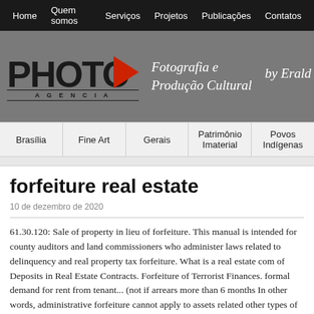Home | Quem somos | Serviços | Projetos | Publicações | Contatos
[Figure (logo): Photo Agência logo with red triangle, tagline 'Fotografia e Produção Cultural by Eraldo']
Brasília | Fine Art | Gerais | Patrimônio Imaterial | Povos Indígenas
forfeiture real estate
10 de dezembro de 2020
61.30.120: Sale of property in lieu of forfeiture. This manual is intended for county auditors and land commissioners who administer laws related to delinquency and real property tax forfeiture. What is a real estate com of Deposits in Real Estate Contracts. Forfeiture of Terrorist Finances. formal demand for rent from tenant... (not if arrears more than 6 months In other words, administrative forfeiture cannot apply to assets related other types of real estate. Beginning in the 1970s, federal lawmakers